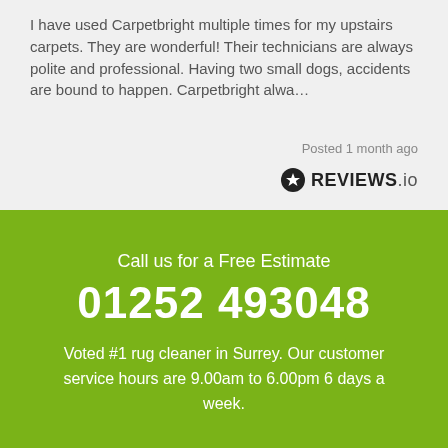I have used Carpetbright multiple times for my upstairs carpets. They are wonderful! Their technicians are always polite and professional. Having two small dogs, accidents are bound to happen. Carpetbright alwa…
Posted 1 month ago
[Figure (logo): REVIEWS.io logo with star icon]
Call us for a Free Estimate
01252 493048
Voted #1 rug cleaner in Surrey. Our customer service hours are 9.00am to 6.00pm 6 days a week.